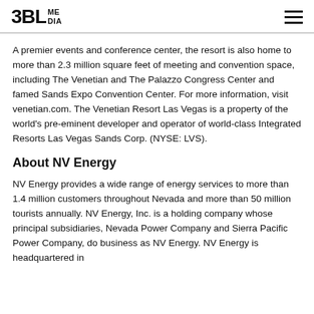3BL MEDIA
A premier events and conference center, the resort is also home to more than 2.3 million square feet of meeting and convention space, including The Venetian and The Palazzo Congress Center and famed Sands Expo Convention Center. For more information, visit venetian.com. The Venetian Resort Las Vegas is a property of the world's pre-eminent developer and operator of world-class Integrated Resorts Las Vegas Sands Corp. (NYSE: LVS).
About NV Energy
NV Energy provides a wide range of energy services to more than 1.4 million customers throughout Nevada and more than 50 million tourists annually. NV Energy, Inc. is a holding company whose principal subsidiaries, Nevada Power Company and Sierra Pacific Power Company, do business as NV Energy. NV Energy is headquartered in